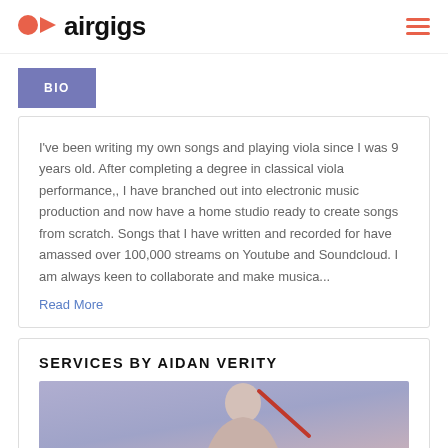airgigs
BIO
I've been writing my own songs and playing viola since I was 9 years old. After completing a degree in classical viola performance,, I have branched out into electronic music production and now have a home studio ready to create songs from scratch. Songs that I have written and recorded for have amassed over 100,000 streams on Youtube and Soundcloud. I am always keen to collaborate and make musica...
Read More
SERVICES BY AIDAN VERITY
[Figure (photo): Photo of Aidan Verity, a person with a musical instrument, lavender/purple background]